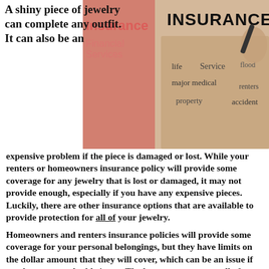[Figure (photo): Insurance-themed image showing a hand writing 'INSURANCE' with a marker, overlaid with insurance-related words: life, flood, Financial Services, major medical, renters, property, accident. Background shows reddish insurance company branding.]
A shiny piece of jewelry can complete any outfit. It can also be an expensive problem if the piece is damaged or lost. While your renters or homeowners insurance policy will provide some coverage for any jewelry that is lost or damaged, it may not provide enough, especially if you have any expensive pieces. Luckily, there are other insurance options that are available to provide protection for all of your jewelry.
Homeowners and renters insurance policies will provide some coverage for your personal belongings, but they have limits on the dollar amount that they will cover, which can be an issue if you have very valuable items. The best way to protect all of your jewelry is to invest in a specific jewelry insurance policy. A jewelry insurance policy can be built to provide enough protection for all of your jewelry, no matter how valuable your collection is. The policy will provide